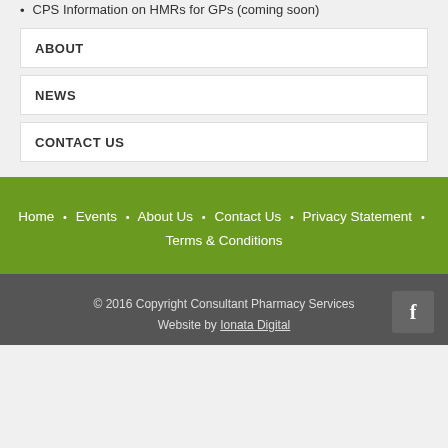CPS Information on HMRs for GPs (coming soon)
ABOUT
NEWS
CONTACT US
Home · Events · About Us · Contact Us · Privacy Statement · Terms & Conditions
© 2016 Copyright Consultant Pharmacy Services Website by Ionata Digital